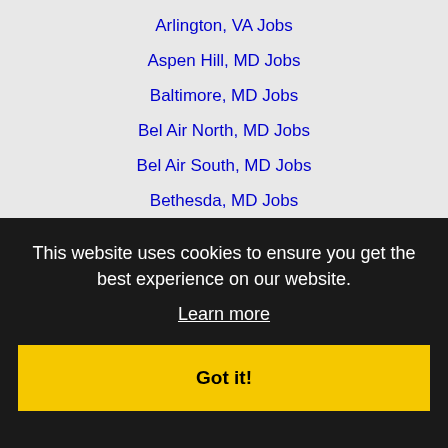Arlington, VA Jobs
Aspen Hill, MD Jobs
Baltimore, MD Jobs
Bel Air North, MD Jobs
Bel Air South, MD Jobs
Bethesda, MD Jobs
Bowie, MD Jobs
Burke, VA Jobs
Catonsville, MD Jobs
Centreville, VA Jobs
Chantilly, VA Jobs
Charlottesville, VA Jobs
Columbia, MD Jobs
Dale City, VA Jobs
Dundalk, MD Jobs
Eldersburg, MD Jobs
Ellicott City, MD Jobs
Franconia, VA Jobs
This website uses cookies to ensure you get the best experience on our website.
Learn more
Got it!